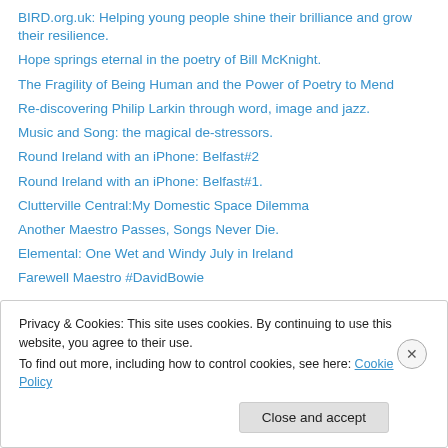BIRD.org.uk: Helping young people shine their brilliance and grow their resilience.
Hope springs eternal in the poetry of Bill McKnight.
The Fragility of Being Human and the Power of Poetry to Mend
Re-discovering Philip Larkin through word, image and jazz.
Music and Song: the magical de-stressors.
Round Ireland with an iPhone: Belfast#2
Round Ireland with an iPhone: Belfast#1.
Clutterville Central:My Domestic Space Dilemma
Another Maestro Passes, Songs Never Die.
Elemental: One Wet and Windy July in Ireland
Farewell Maestro #DavidBowie
Privacy & Cookies: This site uses cookies. By continuing to use this website, you agree to their use. To find out more, including how to control cookies, see here: Cookie Policy
Close and accept